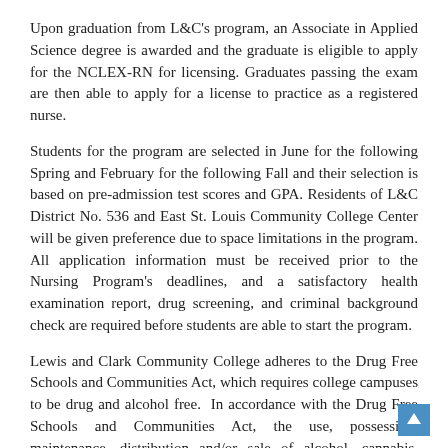Upon graduation from L&C's program, an Associate in Applied Science degree is awarded and the graduate is eligible to apply for the NCLEX-RN for licensing. Graduates passing the exam are then able to apply for a license to practice as a registered nurse.
Students for the program are selected in June for the following Spring and February for the following Fall and their selection is based on pre-admission test scores and GPA. Residents of L&C District No. 536 and East St. Louis Community College Center will be given preference due to space limitations in the program. All application information must be received prior to the Nursing Program's deadlines, and a satisfactory health examination report, drug screening, and criminal background check are required before students are able to start the program.
Lewis and Clark Community College adheres to the Drug Free Schools and Communities Act, which requires college campuses to be drug and alcohol free. In accordance with the Drug Free Schools and Communities Act, the use, possession, maintenance, distribution and/or sale of alcohol, cannabis, illegal drugs, controlled substances or unauthorized prescription drugs while on College property, in College-owned vehicles or while participating in any College activity is strictly prohibited.